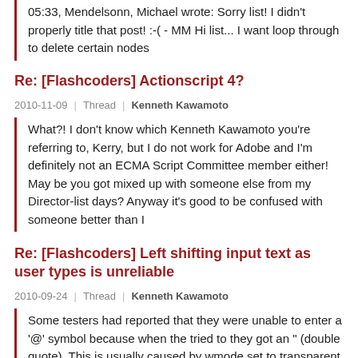05:33, Mendelsonn, Michael wrote: Sorry list! I didn't properly title that post! :-( - MM Hi list... I want loop through to delete certain nodes
Re: [Flashcoders] Actionscript 4?
2010-11-09 | Thread | Kenneth Kawamoto
What?! I don't know which Kenneth Kawamoto you're referring to, Kerry, but I do not work for Adobe and I'm definitely not an ECMA Script Committee member either! May be you got mixed up with someone else from my Director-list days? Anyway it's good to be confused with someone better than I
Re: [Flashcoders] Left shifting input text as user types is unreliable
2010-09-24 | Thread | Kenneth Kawamoto
Some testers had reported that they were unable to enter a '@' symbol because when the tried to they got an " (double quote). This is usually caused by wmode set to transparent. Kenneth Kawamoto http://www.materiaprima.co.uk/ On 24/09/2010 15:36, Paul Andrews wrote: On 22/09/2010 20:25
Re: [Flashcoders]